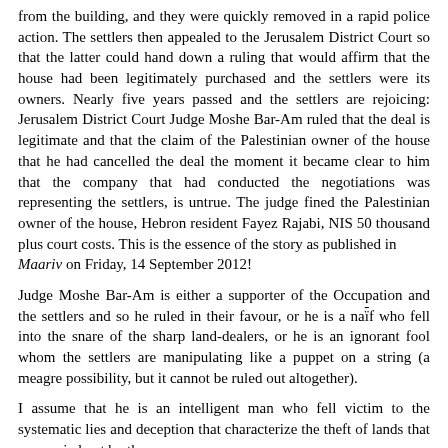from the building, and they were quickly removed in a rapid police action. The settlers then appealed to the Jerusalem District Court so that the latter could hand down a ruling that would affirm that the house had been legitimately purchased and the settlers were its owners. Nearly five years passed and the settlers are rejoicing: Jerusalem District Court Judge Moshe Bar-Am ruled that the deal is legitimate and that the claim of the Palestinian owner of the house that he had cancelled the deal the moment it became clear to him that the company that had conducted the negotiations was representing the settlers, is untrue. The judge fined the Palestinian owner of the house, Hebron resident Fayez Rajabi, NIS 50 thousand plus court costs. This is the essence of the story as published in
Maariv on Friday, 14 September 2012!
Judge Moshe Bar-Am is either a supporter of the Occupation and the settlers and so he ruled in their favour, or he is a naïf who fell into the snare of the sharp land-dealers, or he is an ignorant fool whom the settlers are manipulating like a puppet on a string (a meagre possibility, but it cannot be ruled out altogether).
I assume that he is an intelligent man who fell victim to the systematic lies and deception that characterize the theft of lands that are carried out by the
settlers in the Occupied Territories.
This fact must be stressed: there can be no legitimate business deal between the occupier and the occupied. An occupier with